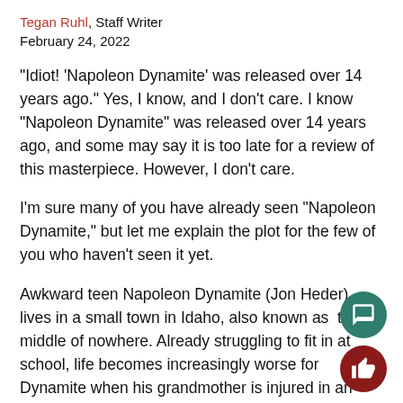Tegan Ruhl, Staff Writer
February 24, 2022
“Idiot! ‘Napoleon Dynamite’ was released over 14 years ago.” Yes, I know, and I don’t care. I know “Napoleon Dynamite” was released over 14 years ago, and some may say it is too late for a review of this masterpiece. However, I don’t care.
I’m sure many of you have already seen “Napoleon Dynamite,” but let me explain the plot for the few of you who haven’t seen it yet.
Awkward teen Napoleon Dynamite (Jon Heder) lives in a small town in Idaho, also known as  the middle of nowhere. Already struggling to fit in at school, life becomes increasingly worse for Dynamite when his grandmother is injured in an ATV accident and his Uncle Rico (Jon Gries) comes to take care of him and his brother (Aaron Ruell)...